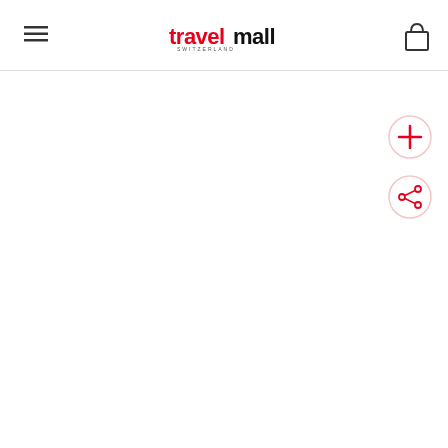English (language selector)
[Figure (logo): Travelmall Switzerland logo with red 'travel' and black 'mall' text, with hamburger menu icon on left and shopping bag icon on right]
[Figure (other): Plus button (circular) - add to wishlist or zoom]
[Figure (other): Share button (circular) - social share icon]